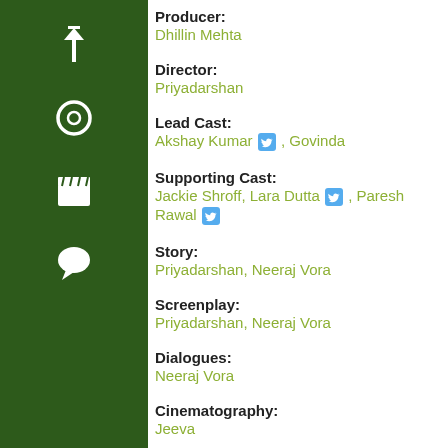[Figure (other): Dark green sidebar with navigation icons: up arrow, circle/record, clapperboard, speech bubble]
Producer:
Dhillin Mehta
Director:
Priyadarshan
Lead Cast:
Akshay Kumar, Govinda
Supporting Cast:
Jackie Shroff, Lara Dutta, Paresh Rawal
Story:
Priyadarshan, Neeraj Vora
Screenplay:
Priyadarshan, Neeraj Vora
Dialogues:
Neeraj Vora
Cinematography:
Jeeva
Editor:
Arun Kumar